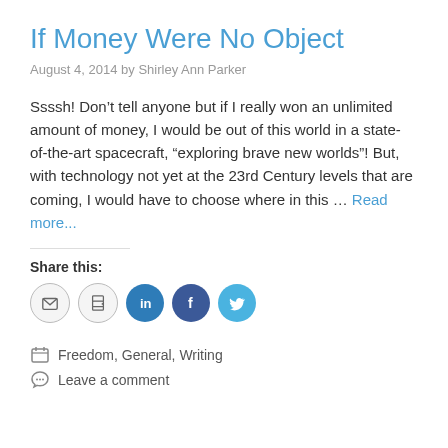If Money Were No Object
August 4, 2014 by Shirley Ann Parker
Ssssh! Don’t tell anyone but if I really won an unlimited amount of money, I would be out of this world in a state-of-the-art spacecraft, “exploring brave new worlds”! But, with technology not yet at the 23rd Century levels that are coming, I would have to choose where in this … Read more…
Share this:
[Figure (infographic): Social sharing icons: email, print, LinkedIn, Facebook, Twitter]
Freedom, General, Writing
Leave a comment